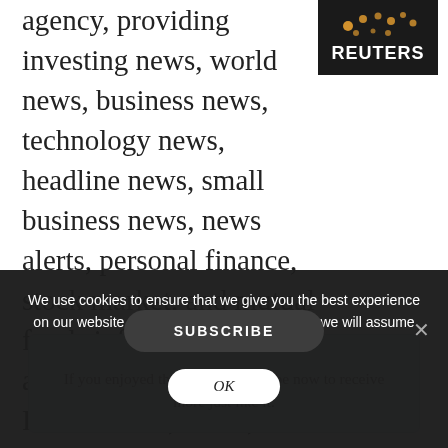[Figure (logo): Reuters logo with orange dots and white REUTERS text on dark background]
agency, providing investing news, world news, business news, technology news, headline news, small business news, news alerts, personal finance, stock market, and mutual funds information available on Reuters.com, video, mobile, and interactive television platforms. More from this author.
SUBSCRIBE
If you enjoyed this article, subscribe now to receive more just like it.
We use cookies to ensure that we give you the best experience on our website. If you continue to use this site we will assume that you are happy with it.
OK